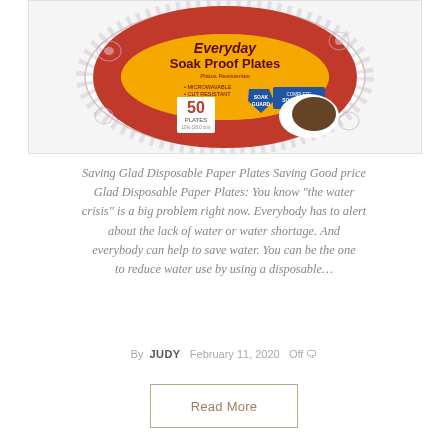[Figure (photo): Product photo of Glad Everyday Soak Proof Plates — a circular stack of paper plates with floral pattern, showing the packaging label with '50 Plates', 'Everyday Soak Proof Plates', 'Soak Guard', microwavable and cut resistant callouts.]
Saving Glad Disposable Paper Plates Saving Good price Glad Disposable Paper Plates: You know "the water crisis" is a big problem right now. Everybody has to alert about the lack of water or water shortage. And everybody can help to save water. You can be the one to reduce water use by using a disposable…
By JUDY   February 11, 2020   Off
Read More